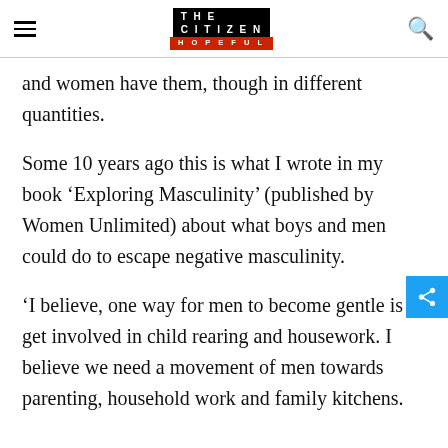THE CITIZEN IS HOPEFUL
and women have them, though in different quantities.
Some 10 years ago this is what I wrote in my book ‘Exploring Masculinity’ (published by Women Unlimited) about what boys and men could do to escape negative masculinity.
‘I believe, one way for men to become gentle is to get involved in child rearing and housework. I believe we need a movement of men towards parenting, household work and family kitchens.